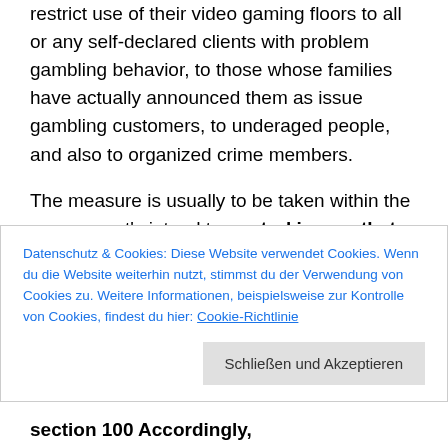restrict use of their video gaming floors to all or any self-declared clients with problem gambling behavior, to those whose families have actually announced them as issue gambling customers, to underaged people, and also to organized crime members.

The measure is usually to be taken within the government's intend to control issues that are gambling-related a time as soon as the nation's gambling industry is being developed. Casino gambling ended up being legalized in Japan later a year ago, after a long period of prolonged discussions
Datenschutz & Cookies: Diese Website verwendet Cookies. Wenn du die Website weiterhin nutzt, stimmst du der Verwendung von Cookies zu. Weitere Informationen, beispielsweise zur Kontrolle von Cookies, findest du hier: Cookie-Richtlinie
Schließen und Akzeptieren